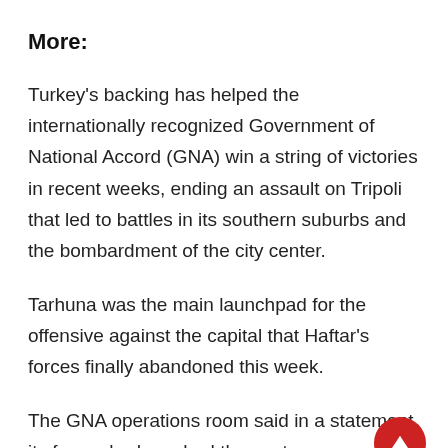More:
Turkey's backing has helped the internationally recognized Government of National Accord (GNA) win a string of victories in recent weeks, ending an assault on Tripoli that led to battles in its southern suburbs and the bombardment of the city center.
Tarhuna was the main launchpad for the offensive against the capital that Haftar's forces finally abandoned this week.
The GNA operations room said in a statement its forces had reached the center